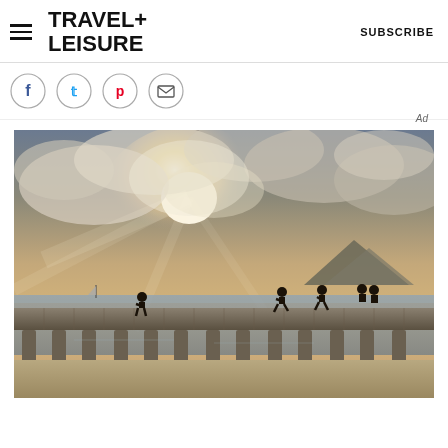TRAVEL+ LEISURE   SUBSCRIBE
[Figure (other): Social sharing icons: Facebook, Twitter, Pinterest, Email — each in a circle outline]
[Figure (photo): Silhouettes of people walking and running on a concrete pier at sunset/dusk, with dramatic clouds, golden light, and a mountain island visible across the water in the background. Photo by Soraya Matos.]
The Great Pier. PHOTO: SORAYA MATOS